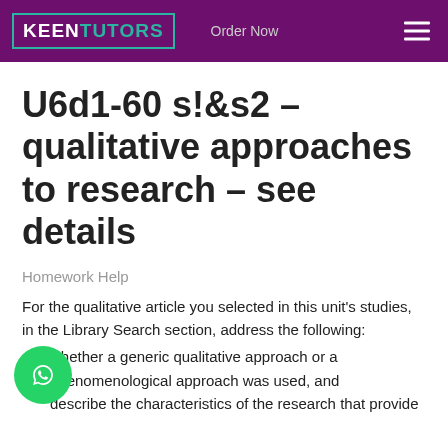KEENTUTORS — Order Now
U6d1-60 s!&s2 – qualitative approaches to research – see details
Homework Help
For the qualitative article you selected in this unit's studies, in the Library Search section, address the following:
whether a generic qualitative approach or a phenomenological approach was used, and
describe the characteristics of the research that provide evidence to support the identification